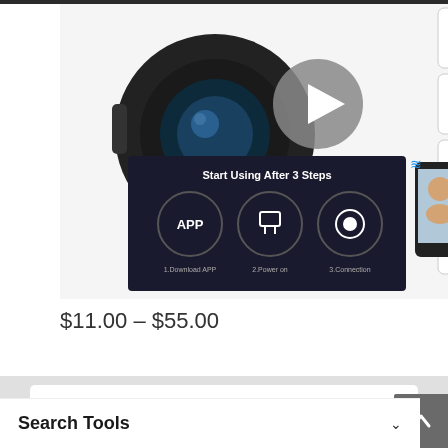[Figure (photo): Product image of a mini spy camera with night vision, Wi-Fi, mobile view, and 128G TF card features. Shows 'Start Using After 3 Steps' instructional card and smartphone display.]
$11.00 – $55.00
Find It Fast
Search Tools